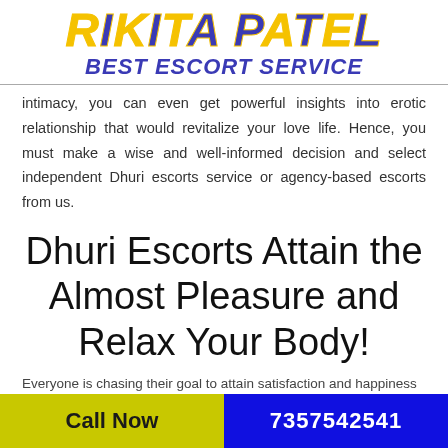RIKITA PATEL BEST ESCORT SERVICE
intimacy, you can even get powerful insights into erotic relationship that would revitalize your love life. Hence, you must make a wise and well-informed decision and select independent Dhuri escorts service or agency-based escorts from us.
Dhuri Escorts Attain the Almost Pleasure and Relax Your Body!
Everyone is chasing their goal to attain satisfaction and happiness
Call Now   7357542541